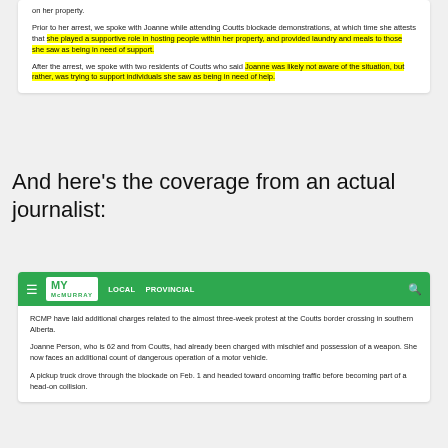on her property.
Prior to her arrest, we spoke with Joanne while attending Coutts blockade demonstrations, at which time she attests that she played a supportive role in hosting people within her property, and provided laundry and meals to those she saw as being in need of support.
After the arrest, we spoke with two residents of Coutts who said Joanne was likely not aware of the situation, but rather, was trying to support individuals she saw as being in need of help.
And here's the coverage from an actual journalist:
[Figure (screenshot): Screenshot of My McMurray website with green navigation bar showing LOCAL and PROVINCIAL links, and article text about RCMP charges related to Coutts border crossing protest involving Joanne Person.]
RCMP have laid additional charges related to the almost three-week protest at the Coutts border crossing in southern Alberta.
Joanne Person, who is 62 and from Coutts, had already been charged with mischief and possession of a weapon. She now faces an additional count of dangerous operation of a motor vehicle.
A pickup truck drove through the blockade on Feb. 1 and headed toward oncoming traffic before becoming part of a head-on collision.